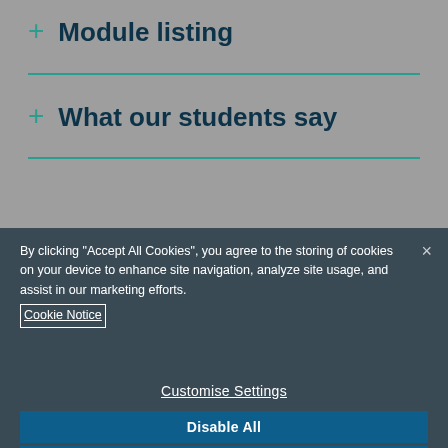+ Module listing
+ What our students say
By clicking “Accept All Cookies”, you agree to the storing of cookies on your device to enhance site navigation, analyze site usage, and assist in our marketing efforts. Cookie Notice
Customise Settings
Disable All
Allow All